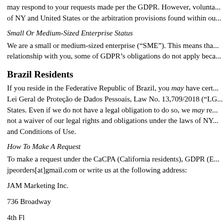may respond to your requests made per the GDPR. However, voluntary compliance is not a waiver of our legal rights and obligations under the laws of NY and United States or the arbitration provisions found within our Terms and Conditions of Use.
Small Or Medium-Sized Enterprise Status
We are a small or medium-sized enterprise (“SME”). This means that in our relationship with you, some of GDPR’s obligations do not apply beca...
Brazil Residents
If you reside in the Federative Republic of Brazil, you may have certain rights under Lei Geral de Proteção de Dados Pessoais, Law No. 13,709/2018 (“LGPD”) of Brazil States. Even if we do not have a legal obligation to do so, we may respond, but this is not a waiver of our legal rights and obligations under the laws of NY and our Terms and Conditions of Use.
How To Make A Request
To make a request under the CaCPA (California residents), GDPR (E... jpeorders[at]gmail.com or write us at the following address:
JAM Marketing Inc.
736 Broadway
4th Fl